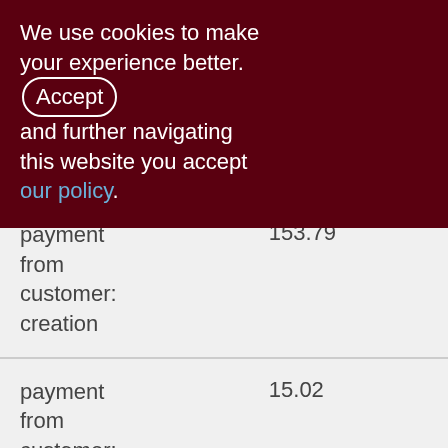We use cookies to make your experience better. By accepting and further navigating this website you accept our policy.
| Description | Amount |
| --- | --- |
| payment from customer: creation | 153.79 |
| payment from customer: removal | 15.02 |
| payment to supplier: creation | 129.38 |